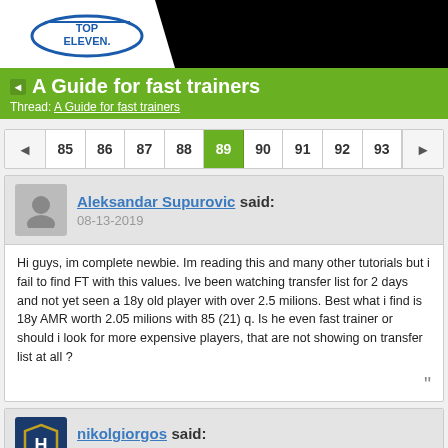Top Eleven logo header
A Guide for fast trainers
Thread: A Guide for fast trainers
85 86 87 88 89 90 91 92 93
Aleksandar Supurovic said: 08-13-2019
Hi guys, im complete newbie. Im reading this and many other tutorials but i fail to find FT with this values. Ive been watching transfer list for 2 days and not yet seen a 18y old player with over 2.5 milions. Best what i find is 18y AMR worth 2.05 milions with 85 (21) q. Is he even fast trainer or should i look for more expensive players, that are not showing on transfer list at all ?
nikolgiorgos said: 08-13-2019